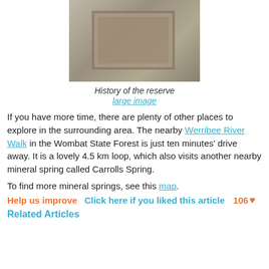[Figure (photo): Photo of a stone plaque mounted on a rock, showing the history of the reserve. The plaque has engraved text and is set into a rocky outcrop with some grass visible.]
History of the reserve
large image
If you have more time, there are plenty of other places to explore in the surrounding area. The nearby Werribee River Walk in the Wombat State Forest is just ten minutes' drive away. It is a lovely 4.5 km loop, which also visits another nearby mineral spring called Carrolls Spring.
To find more mineral springs, see this map.
Help us improve  Click here if you liked this article  106 ♥
Related Articles